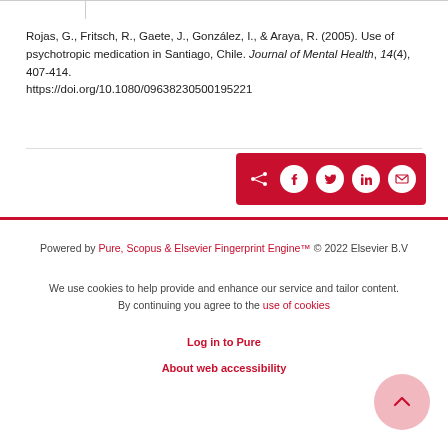Rojas, G., Fritsch, R., Gaete, J., González, I., & Araya, R. (2005). Use of psychotropic medication in Santiago, Chile. Journal of Mental Health, 14(4), 407-414. https://doi.org/10.1080/09638230500195221
[Figure (other): Red social share bar with icons for share, Facebook, Twitter, LinkedIn, and email]
Powered by Pure, Scopus & Elsevier Fingerprint Engine™ © 2022 Elsevier B.V
We use cookies to help provide and enhance our service and tailor content. By continuing you agree to the use of cookies
Log in to Pure
About web accessibility